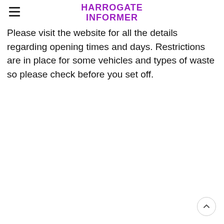HARROGATE INFORMER
Please visit the website for all the details regarding opening times and days. Restrictions are in place for some vehicles and types of waste so please check before you set off.